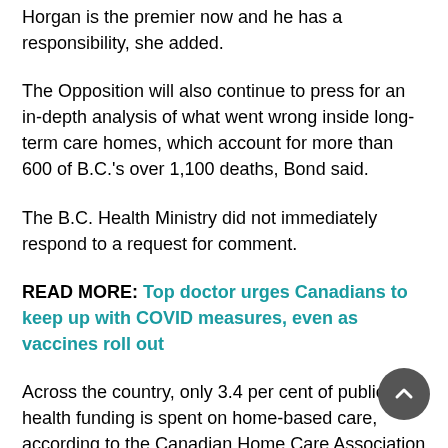Horgan is the premier now and he has a responsibility, she added.
The Opposition will also continue to press for an in-depth analysis of what went wrong inside long-term care homes, which account for more than 600 of B.C.'s over 1,100 deaths, Bond said.
The B.C. Health Ministry did not immediately respond to a request for comment.
READ MORE: Top doctor urges Canadians to keep up with COVID measures, even as vaccines roll out
Across the country, only 3.4 per cent of public health funding is spent on home-based care, according to the Canadian Home Care Association and Carers Canada.